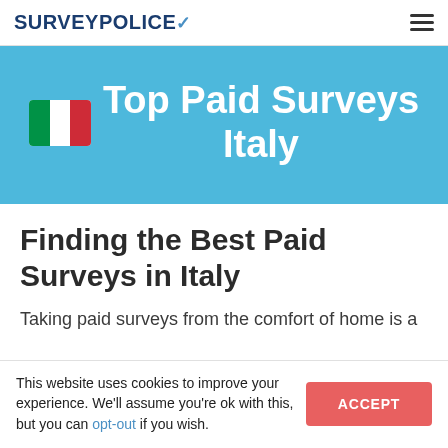SURVEYPOLICE
Top Paid Surveys Italy
Finding the Best Paid Surveys in Italy
Taking paid surveys from the comfort of home is a
This website uses cookies to improve your experience. We'll assume you're ok with this, but you can opt-out if you wish.